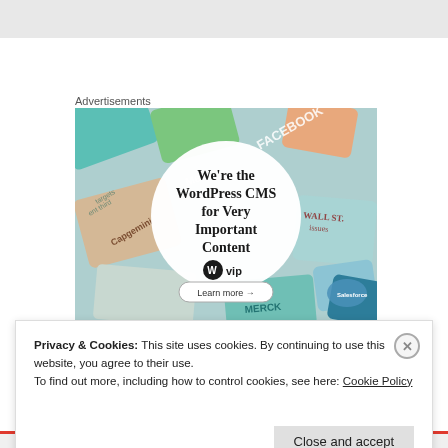Advertisements
[Figure (illustration): WordPress VIP advertisement showing colorful brand cards (Meta, Facebook, Capgemini, Merck, Salesforce, etc.) arranged as background. Center white circle with text: We're the WordPress CMS for Very Important Content. WordPress VIP logo. Learn more button with arrow.]
Privacy & Cookies: This site uses cookies. By continuing to use this website, you agree to their use.
To find out more, including how to control cookies, see here: Cookie Policy
Close and accept